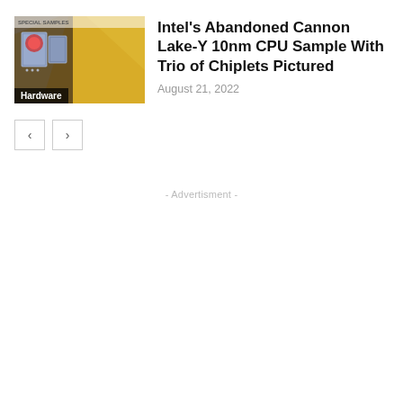[Figure (photo): Thumbnail image showing Intel CPU chiplet samples labeled SPECIAL SAMPLES, with gold/yellow packaging and circuit components visible]
Intel's Abandoned Cannon Lake-Y 10nm CPU Sample With Trio of Chiplets Pictured
August 21, 2022
< >
- Advertisment -